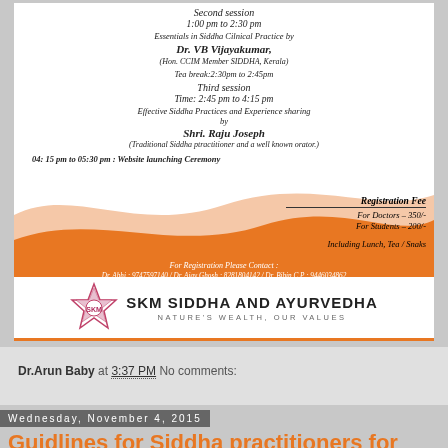[Figure (infographic): Event flyer for a Siddha medicine seminar by SKM Siddha and Ayurvedha. Contains schedule with sessions, speakers Dr. VB Vijayakumar and Shri. Raju Joseph, registration fees, and contact information. Orange wave design with white background and logo at bottom.]
Dr.Arun Baby at 3:37 PM   No comments:
Wednesday, November 4, 2015
Guidlines for Siddha practitioners for